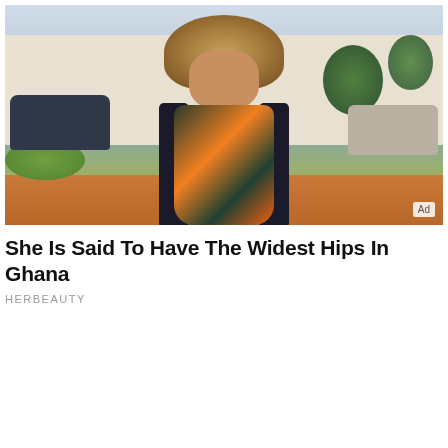[Figure (photo): A woman with large curly blonde-brown hair wearing a colorful floral dress and black cardigan, standing outdoors on a street with cars and buildings in the background. An 'Ad' badge is visible in the bottom-right corner of the image.]
She Is Said To Have The Widest Hips In Ghana
HERBEAUTY